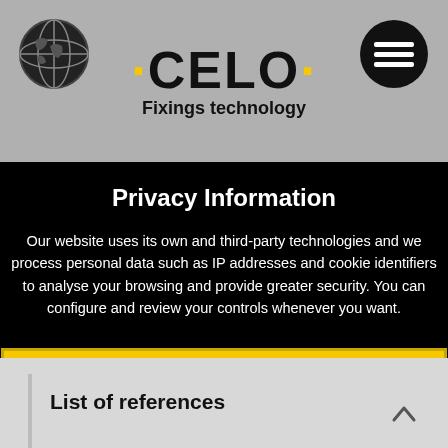[Figure (logo): CELO Fixings technology logo with globe icon on left and hamburger menu on right, on a grey header bar]
Privacy Information
Our website uses its own and third-party technologies and we process personal data such as IP addresses and cookie identifiers to analyse your browsing and provide greater security. You can configure and review your controls whenever you want.
Continue with Recommended Cookies
Manage Options  |  Cookie Details  |  Privacy Policy
List of references